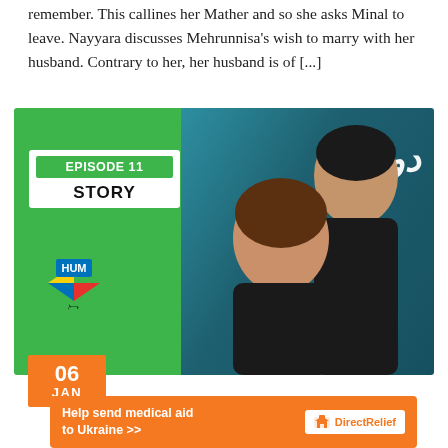remember. This callines her Mather and so she asks Minal to leave. Nayyara discusses Mehrunnisa's wish to marry with her husband. Contrary to her, her husband is of [...]
[Figure (photo): Promotional image for drama Dobara Episode 11 Story on HUM TV. Green panel on left with white box showing 'EPISODE 11 STORY', HUM TV logo, and orange date badge showing '06 JAN'. Right side shows two people (couple) against teal background with Urdu title text.]
[Figure (infographic): Advertisement banner for Direct Relief: 'Help send medical aid to Ukraine >>' with Direct Relief logo on orange background.]